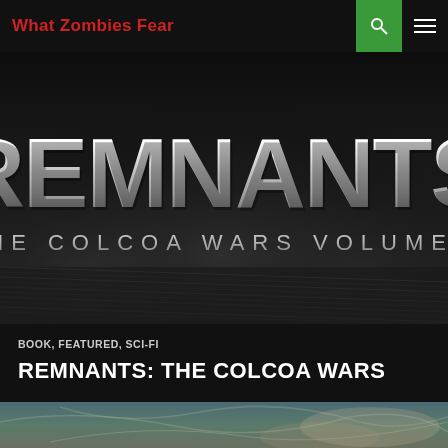What Zombies Fear
[Figure (illustration): Book cover for 'Remnants: The Colcoa Wars Volume I' — large metallic silver text 'REMNANTS' above smaller text 'THE COLCOA WARS VOLUME I' on a dark smoky background]
BOOK, FEATURED, SCI-FI
REMNANTS: THE COLCOA WARS
[Figure (photo): Bottom strip of an image showing a teal/muted green and beige swirling graphic or artistic background]